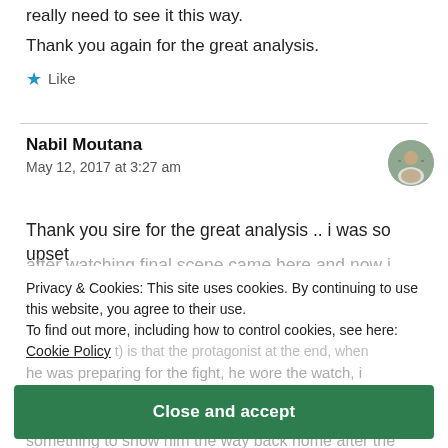really need to see it this way.
Thank you again for the great analysis.
Like
Nabil Moutana
May 12, 2017 at 3:27 am
Thank you sire for the great analysis .. i was so upset
after watching final scene came here and now i can see lights 😊
Privacy & Cookies: This site uses cookies. By continuing to use this website, you agree to their use.
To find out more, including how to control cookies, see here:
Cookie Policy
Close and accept
sure he would beat the big wolf and will need something to show him the way back home after the